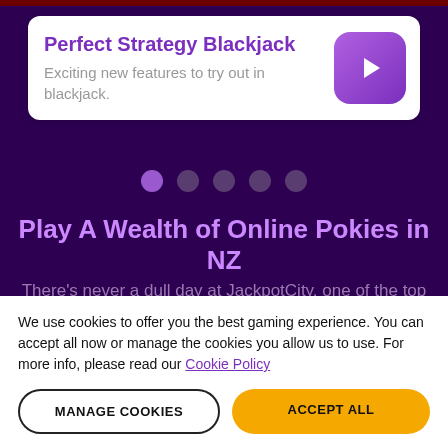Perfect Strategy Blackjack
Exciting new features to try out in blackjack.
[Figure (other): Pagination dots: 5 circles with first active in purple, rest in dark muted purple]
Play A Wealth of Online Pokies in NZ
There's never a dull day at JackpotCity, one of the top online casinos in New Zealand. As the leading purveyor of online pokies in NZ, you'll be spoilt for
We use cookies to offer you the best gaming experience. You can accept all now or manage the cookies you allow us to use. For more info, please read our Cookie Policy
MANAGE COOKIES
ACCEPT ALL